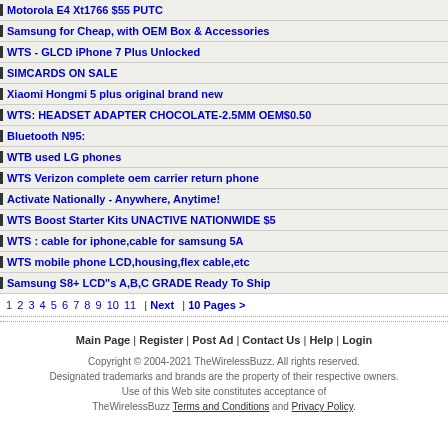Motorola E4 Xt1766 $55 PUTC
Samsung for Cheap, with OEM Box & Accessories
WTS - GLCD iPhone 7 Plus Unlocked
SIMCARDS ON SALE
Xiaomi Hongmi 5 plus original brand new
WTS: HEADSET ADAPTER CHOCOLATE-2.5MM OEM$0.50
Bluetooth N95:
WTB used LG phones
WTS Verizon complete oem carrier return phone
Activate Nationally - Anywhere, Anytime!
WTS Boost Starter Kits UNACTIVE NATIONWIDE $5
WTS : cable for iphone,cable for samsung 5A
WTS mobile phone LCD,housing,flex cable,etc
Samsung S8+ LCD"s A,B,C GRADE Ready To Ship
1 2 3 4 5 6 7 8 9 10 11 | Next | 10 Pages >
Main Page | Register | Post Ad | Contact Us | Help | Login
Copyright © 2004-2021 TheWirelessBuzz. All rights reserved.
Designated trademarks and brands are the property of their respective owners.
Use of this Web site constitutes acceptance of TheWirelessBuzz Terms and Conditions and Privacy Policy.